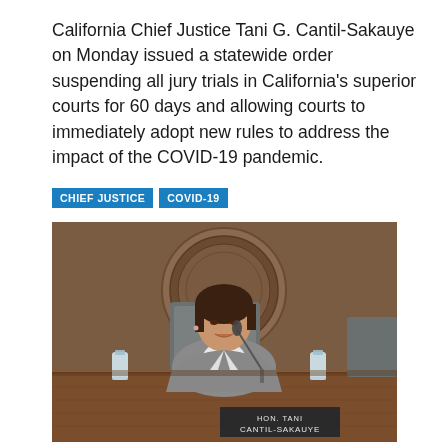California Chief Justice Tani G. Cantil-Sakauye on Monday issued a statewide order suspending all jury trials in California's superior courts for 60 days and allowing courts to immediately adopt new rules to address the impact of the COVID-19 pandemic.
CHIEF JUSTICE
COVID-19
[Figure (photo): Photo of Hon. Tani Cantil-Sakauye seated at a judicial bench with a nameplate reading 'HON. TANI CANTIL-SAKAUYE', a microphone in front of her, water bottles on the bench, and a large circular seal on the wooden wall behind her. She is wearing a gray blazer.]